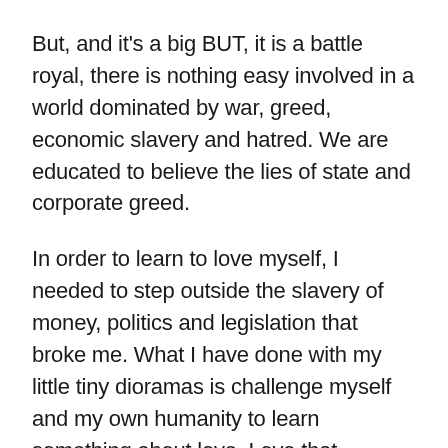But, and it's a big BUT, it is a battle royal, there is nothing easy involved in a world dominated by war, greed, economic slavery and hatred. We are educated to believe the lies of state and corporate greed.
In order to learn to love myself, I needed to step outside the slavery of money, politics and legislation that broke me. What I have done with my little tiny dioramas is challenge myself and my own humanity to learn something about love. Love that matters, love that can make an impact in no matter how small a way. The most important thing in the universe is Love.
Today I made myself a meal, I had bought all the ingredients, cleaned and tidied my kitchen in preparation, and set myself up to face whatever demons might assault me if I dared to make myself a simple